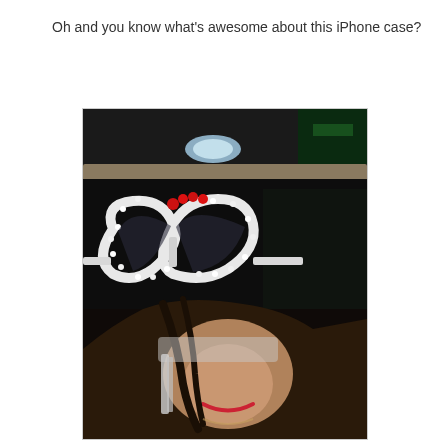Oh and you know what's awesome about this iPhone case?
[Figure (photo): A young woman holding up an iPhone case shaped like heart-shaped sunglasses with white pearl-like edges and red gem decorations at the top center, photographed at night with dark background and blurred city lights visible.]